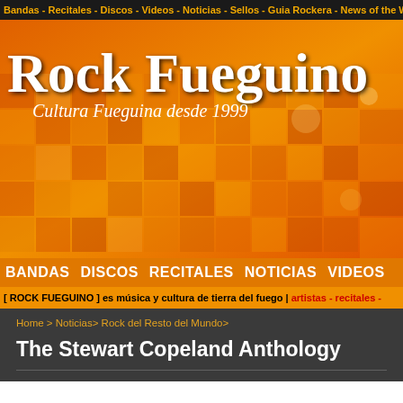Bandas - Recitales - Discos - Videos - Noticias - Sellos - Guia Rockera - News of the World - A...
[Figure (logo): Rock Fueguino website logo with orange mosaic background. Title reads 'Rock Fueguino' in decorative white serif font, subtitle 'Cultura Fueguina desde 1999' in italic.]
BANDAS  DISCOS  RECITALES  NOTICIAS  VIDEOS
[ ROCK FUEGUINO ] es música y cultura de tierra del fuego | artistas - recitales -
Home > Noticias> Rock del Resto del Mundo>
The Stewart Copeland Anthology